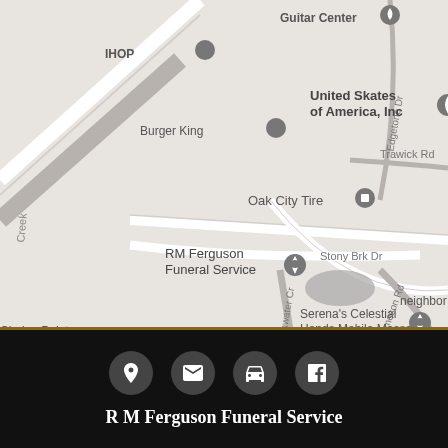[Figure (map): Google Maps view showing RM Ferguson Funeral Service location in Raleigh, NC area. Nearby landmarks include Guitar Center, IHOP, Burger King, United Skates of America Inc, Oak City Tire, Clarion Pointe Raleigh Midtown, Hospitality Studios, Serena's Celestial Hands Mobile Massage. Roads visible include Stony Brk Dr, Branchwater Creek, Edgetone Dr, Trawick Rd, W Jameson Rd.]
[Figure (infographic): Footer bar with four white icons on dark background: location pin, envelope/email, car/directions, Facebook logo]
R M Ferguson Funeral Service